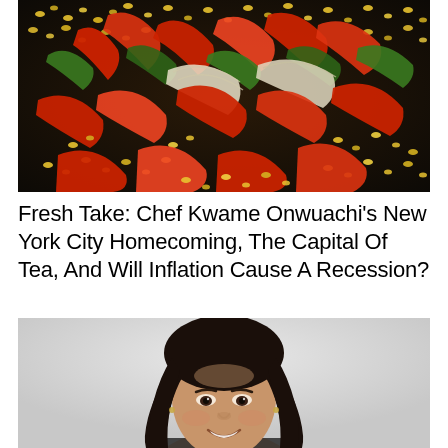[Figure (photo): Close-up photo of colorful stir-fry vegetables including red and green bell peppers, onions, corn kernels, and other vegetables cooking in a dark wok/pan]
Fresh Take: Chef Kwame Onwuachi’s New York City Homecoming, The Capital Of Tea, And Will Inflation Cause A Recession?
[Figure (photo): Portrait photo of a smiling young woman with long dark hair against a light gray background]